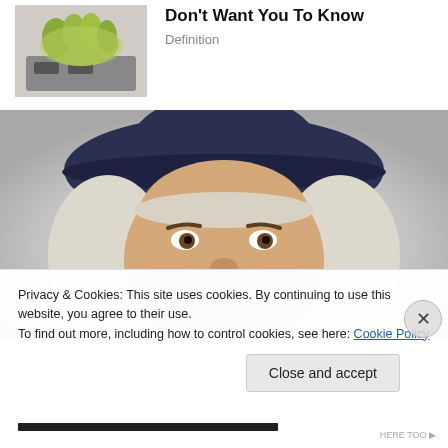[Figure (photo): Thumbnail image of a green/yellow blob or substance being pressed on what appears to be a keyboard or scanner device]
Don't Want You To Know
Definition
[Figure (photo): Large image of the Quaker Oats man mascot face with white hair and a dark wide-brim hat, smiling, on a gray gradient background]
Privacy & Cookies: This site uses cookies. By continuing to use this website, you agree to their use.
To find out more, including how to control cookies, see here: Cookie Policy
Close and accept